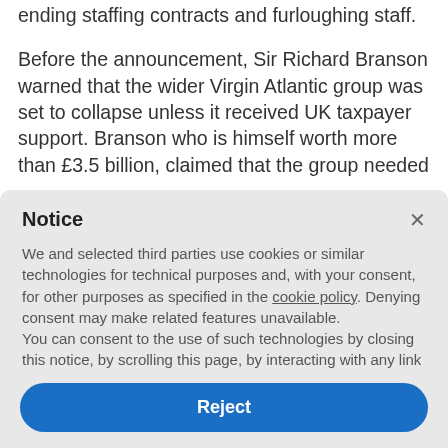ending staffing contracts and furloughing staff.
Before the announcement, Sir Richard Branson warned that the wider Virgin Atlantic group was set to collapse unless it received UK taxpayer support. Branson who is himself worth more than £3.5 billion, claimed that the group needed
Notice
We and selected third parties use cookies or similar technologies for technical purposes and, with your consent, for other purposes as specified in the cookie policy. Denying consent may make related features unavailable.
You can consent to the use of such technologies by closing this notice, by scrolling this page, by interacting with any link or button outside of this notice or by continuing to browse otherwise.
Reject